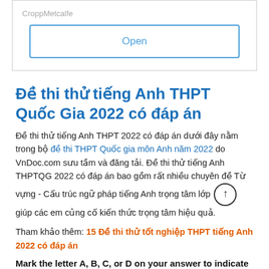[Figure (screenshot): UI box with label 'CroppMetcalfe' and a button labeled 'Open' with blue border]
Đề thi thử tiếng Anh THPT Quốc Gia 2022 có đáp án
Đề thi thử tiếng Anh THPT 2022 có đáp án dưới đây nằm trong bộ đề thi THPT Quốc gia môn Anh năm 2022 do VnDoc.com sưu tầm và đăng tải. Đề thi thử tiếng Anh THPTQG 2022 có đáp án bao gồm rất nhiều chuyên đề Từ vựng - Cấu trúc ngữ pháp tiếng Anh trọng tâm lớp giúp các em củng cố kiến thức trọng tâm hiệu quả.
Tham khảo thêm: 15 Đề thi thử tốt nghiệp THPT tiếng Anh 2022 có đáp án
Mark the letter A, B, C, or D on your answer to indicate